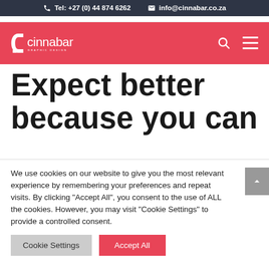Tel: +27 (0) 44 874 6262   info@cinnabar.co.za
[Figure (logo): Cinnabar Graphic Design logo in white on red background]
Expect better because you can
We use cookies on our website to give you the most relevant experience by remembering your preferences and repeat visits. By clicking "Accept All", you consent to the use of ALL the cookies. However, you may visit "Cookie Settings" to provide a controlled consent.